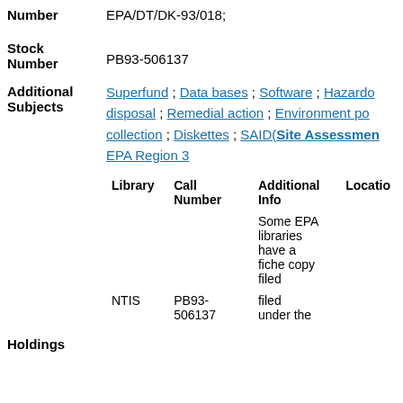Number
EPA/DT/DK-93/018;
Stock Number
PB93-506137
Additional Subjects
Superfund ; Data bases ; Software ; Hazardous waste disposal ; Remedial action ; Environment protection ; Data collection ; Diskettes ; SAID(Site Assessment...) ; EPA Region 3
| Library | Call Number | Additional Info | Location |
| --- | --- | --- | --- |
|  |  | Some EPA libraries have a fiche copy filed under the |  |
| NTIS | PB93-506137 | filed |  |